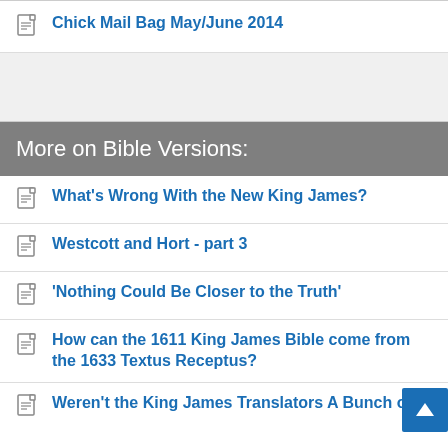Chick Mail Bag May/June 2014
More on Bible Versions:
What's Wrong With the New King James?
Westcott and Hort - part 3
'Nothing Could Be Closer to the Truth'
How can the 1611 King James Bible come from the 1633 Textus Receptus?
Weren't the King James Translators A Bunch of Episcopa...